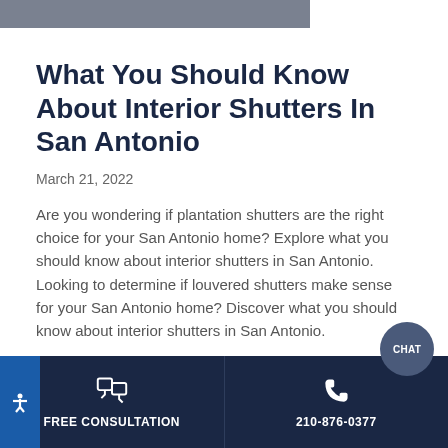[Figure (other): Gray decorative header bar]
What You Should Know About Interior Shutters In San Antonio
March 21, 2022
Are you wondering if plantation shutters are the right choice for your San Antonio home? Explore what you should know about interior shutters in San Antonio. Looking to determine if louvered shutters make sense for your San Antonio home? Discover what you should know about interior shutters in San Antonio.
READ MORE ...
FREE CONSULTATION   210-876-0377   CHAT